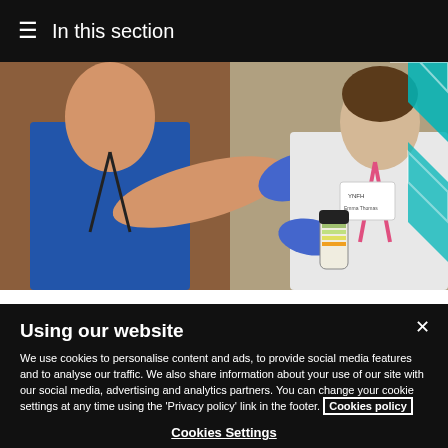≡ In this section
[Figure (photo): Two healthcare workers in a clinical setting; one in blue scrubs with blue gloves pointing at a specimen container held by another in a white uniform with a pink lanyard. Teal chevron graphic visible in upper right.]
Using our website
We use cookies to personalise content and ads, to provide social media features and to analyse our traffic. We also share information about your use of our site with our social media, advertising and analytics partners. You can change your cookie settings at any time using the 'Privacy policy' link in the footer. Cookies policy
Cookies Settings